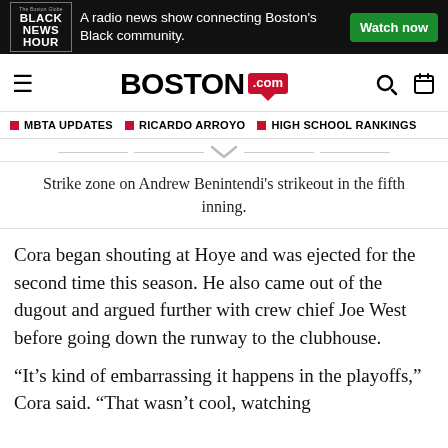[Figure (other): Black News Hour advertisement banner: logo on left with text 'BLACK NEWS HOUR', tagline 'A radio news show connecting Boston's Black community.' and a green 'Watch now' button on the right.]
BOSTON.com
MBTA UPDATES  RICARDO ARROYO  HIGH SCHOOL RANKINGS
Strike zone on Andrew Benintendi's strikeout in the fifth inning.
Cora began shouting at Hoye and was ejected for the second time this season. He also came out of the dugout and argued further with crew chief Joe West before going down the runway to the clubhouse.
“It’s kind of embarrassing it happens in the playoffs,” Cora said. “That wasn’t cool, watching